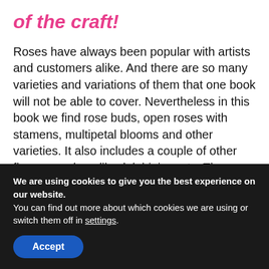of the craft!
Roses have always been popular with artists and customers alike. And there are so many varieties and variations of them that one book will not be able to cover. Nevertheless in this book we find rose buds, open roses with stamens, multipetal blooms and other varieties. It also includes a couple of other flowers such as lily, delphinium etc. The fabric flower making book is illustrated with rather detailed colour photographs which demonstrate main steps of the process including how to dye petals and leaves using dyes for silk
We are using cookies to give you the best experience on our website.
You can find out more about which cookies we are using or switch them off in settings.
Accept